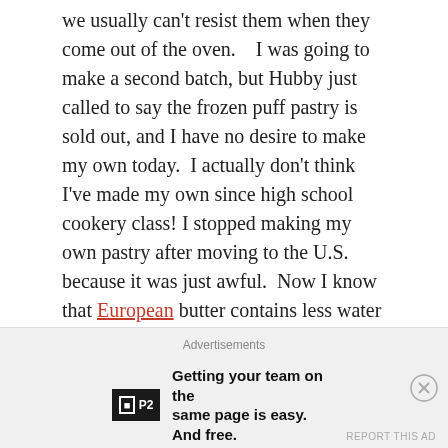we usually can't resist them when they come out of the oven.    I was going to make a second batch, but Hubby just called to say the frozen puff pastry is sold out, and I have no desire to make my own today.  I actually don't think I've made my own since high school cookery class!  I stopped making my own pastry after moving to the U.S. because it was just awful.  Now I know that European butter contains less water and more fat,  so I can blame my made-in-American dry and crumbly pastry on American butter — at least until I give it another try with European butter that is now available here.  But that's not happening this week....
As we only like turkey in small doses and have no desire
Advertisements
Getting your team on the same page is easy. And free.